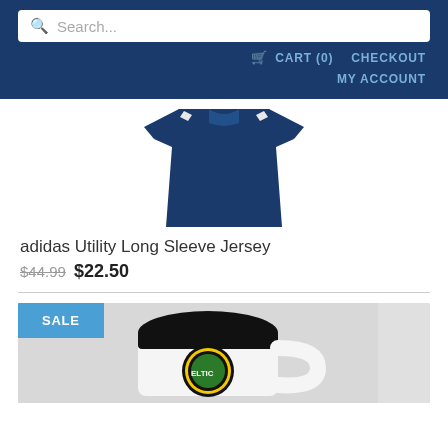Search...
CART (0)  CHECKOUT  MY ACCOUNT
[Figure (photo): Navy blue adidas long sleeve jersey, viewed from the back, displayed against white background]
adidas Utility Long Sleeve Jersey
$44.99 $22.50
[Figure (photo): White ceramic coffee mug with black interior and Celtics logo, shown on gray background, with SALE badge in blue]